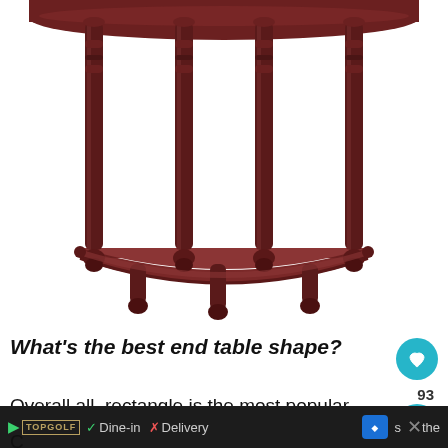[Figure (photo): A dark cherry/mahogany wooden half-moon demilune console table with turned legs and a lower semicircular shelf, viewed from the front against a white background.]
What's the best end table shape?
Overall all, rectangle is the most popular.
C ... s the